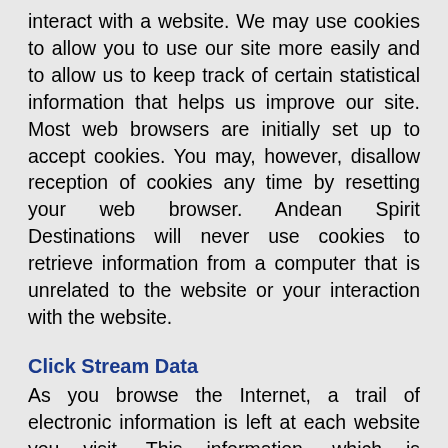interact with a website. We may use cookies to allow you to use our site more easily and to allow us to keep track of certain statistical information that helps us improve our site. Most web browsers are initially set up to accept cookies. You may, however, disallow reception of cookies any time by resetting your web browser. Andean Spirit Destinations will never use cookies to retrieve information from a computer that is unrelated to the website or your interaction with the website.
Click Stream Data
As you browse the Internet, a trail of electronic information is left at each website you visit. This information, which is sometimes called “click stream” data, can be collected and stored by a website’s server. Click stream data can tell us the